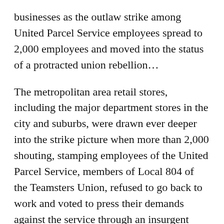businesses as the outlaw strike among United Parcel Service employees spread to 2,000 employees and moved into the status of a protracted union rebellion…
The metropolitan area retail stores, including the major department stores in the city and suburbs, were drawn ever deeper into the strike picture when more than 2,000 shouting, stamping employees of the United Parcel Service, members of Local 804 of the Teamsters Union, refused to go back to work and voted to press their demands against the service through an insurgent 'rank and file' committee.
Local 804 President Edward Conway proved helpless in the face of the revolt of most of his membership, and refused to meet with the insurgent rank-and-file committee. Despite the intervention of Teamster President Dan Tobin, who ordered the strikers back to